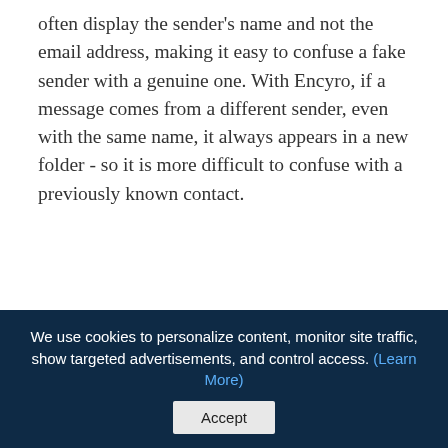often display the sender's name and not the email address, making it easy to confuse a fake sender with a genuine one. With Encyro, if a message comes from a different sender, even with the same name, it always appears in a new folder - so it is more difficult to confuse with a previously known contact.
Read more about how Encyro makes it easy to safeguard your electronic communications.
You can get the benefits of an Encyro account it
We use cookies to personalize content, monitor site traffic, show targeted advertisements, and control access. (Learn More)